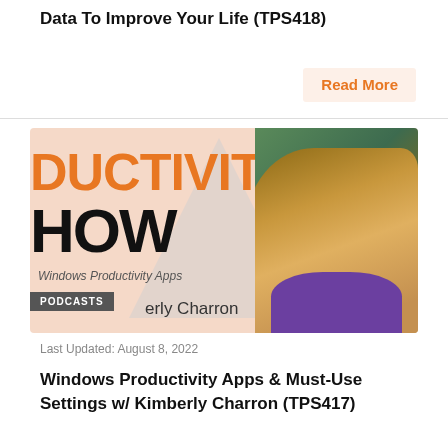Data To Improve Your Life (TPS418)
Read More
[Figure (photo): Podcast banner image for The Productivity Show featuring text 'DUCTIVITY' in orange and 'HOW' in black, 'Windows Productivity Apps' subtitle, 'PODCASTS' badge, 'Kimberly Charron' name, and a photo of a woman with long brown hair wearing a purple shirt against a green background]
Last Updated: August 8, 2022
Windows Productivity Apps & Must-Use Settings w/ Kimberly Charron (TPS417)